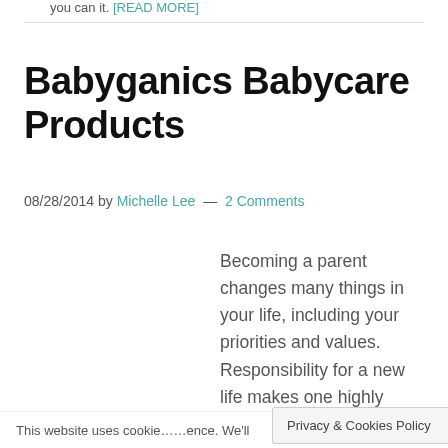you can it. [READ MORE]
Babyganics Babycare Products
08/28/2014 by Michelle Lee — 2 Comments
Becoming a parent changes many things in your life, including your priorities and values. Responsibility for a new life makes one highly conscious of health and environmental impacts, as you want to ensure
This website uses cookie … Privacy & Cookies Policy … ence. We'll